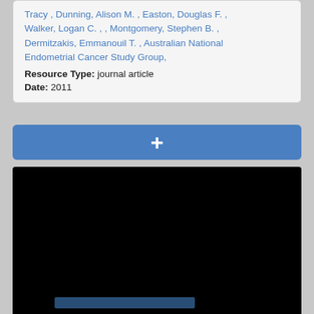Tracy , Dunning, Alison M. , Easton, Douglas F. , Walker, Logan C. , , Montgomery, Stephen B. , Dermitzakis, Emmanouil T. , Australian National Endometrial Cancer Study Group,
Resource Type: journal article
Date: 2011
[Figure (screenshot): Blue plus (+) button bar for adding or expanding content]
[Figure (photo): Mostly black panel representing a dark/unloaded image or video, with a faint blue horizontal line near the bottom]